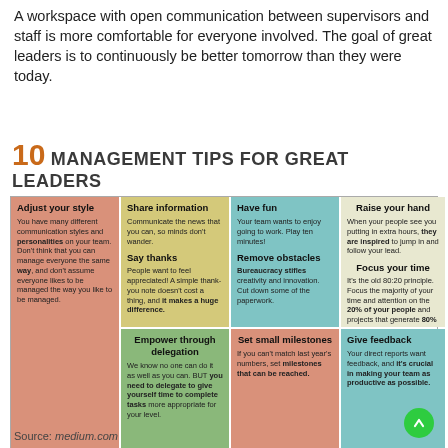A workspace with open communication between supervisors and staff is more comfortable for everyone involved. The goal of great leaders is to continuously be better tomorrow than they were today.
[Figure (infographic): 10 Management Tips for Great Leaders infographic with a 2x4 grid of colored cells. Each cell contains a tip title and description: Share information, Adjust your style, Have fun, Raise your hand, Say thanks (in same cell as Share info), Remove obstacles (in same cell as Have fun), Focus your time (in same cell as Raise your hand), Empower through delegation, Set small milestones, Give feedback.]
Source: medium.com